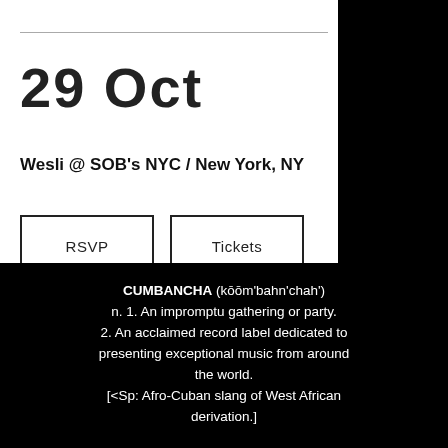29  Oct
Wesli @ SOB's NYC /  New York, NY
RSVP
Tickets
CUMBANCHA (kōōm'bahn'chah') n. 1. An impromptu gathering or party. 2. An acclaimed record label dedicated to presenting exceptional music from around the world. [<Sp: Afro-Cuban slang of West African derivation.]